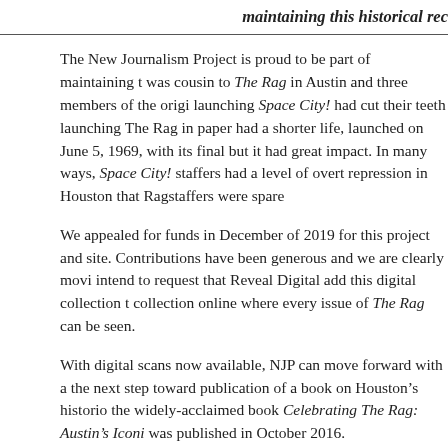maintaining this historical rec
The New Journalism Project is proud to be part of maintaining t was cousin to The Rag in Austin and three members of the origi launching Space City! had cut their teeth launching The Rag in paper had a shorter life, launched on June 5, 1969, with its final but it had great impact. In many ways, Space City! staffers had a level of overt repression in Houston that Ragstaffers were spare
We appealed for funds in December of 2019 for this project and site. Contributions have been generous and we are clearly movi intend to request that Reveal Digital add this digital collection t collection online where every issue of The Rag can be seen.
With digital scans now available, NJP can move forward with a the next step toward publication of a book on Houston's historio the widely-acclaimed book Celebrating The Rag: Austin's Iconi was published in October 2016.